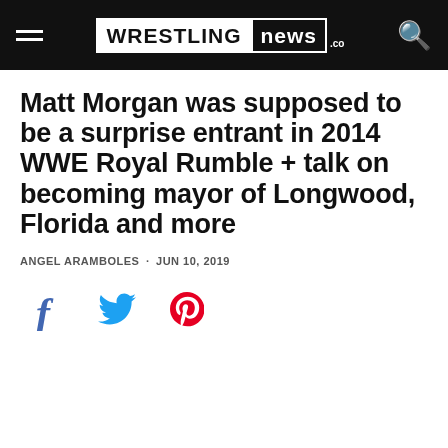WRESTLING NEWS .co
Matt Morgan was supposed to be a surprise entrant in 2014 WWE Royal Rumble + talk on becoming mayor of Longwood, Florida and more
ANGEL ARAMBOLES · JUN 10, 2019
[Figure (other): Social sharing icons: Facebook (f), Twitter (bird), Pinterest (P)]